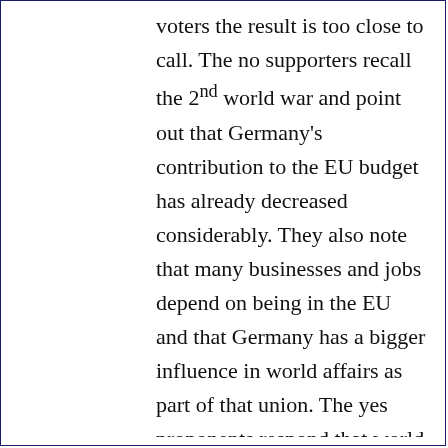voters the result is too close to call. The no supporters recall the 2nd world war and point out that Germany's contribution to the EU budget has already decreased considerably. They also note that many businesses and jobs depend on being in the EU and that Germany has a bigger influence in world affairs as part of that union. The yes proponents respond that world war two started almost a century ago and that Germany's debt to history has already been paid. They further claim that the living standard is still too low and Germany needs to use its